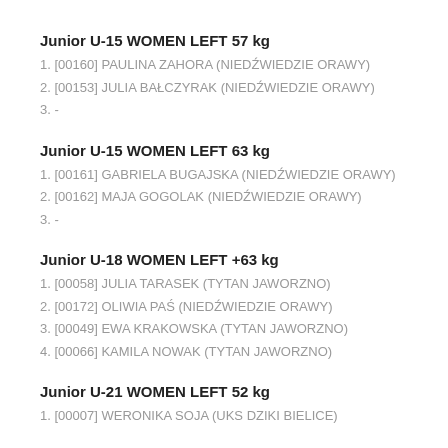Junior U-15 WOMEN LEFT 57 kg
1. [00160] PAULINA ZAHORA (NIEDŹWIEDZIE ORAWY)
2. [00153] JULIA BAŁCZYRAK (NIEDŹWIEDZIE ORAWY)
3. -
Junior U-15 WOMEN LEFT 63 kg
1. [00161] GABRIELA BUGAJSKA (NIEDŹWIEDZIE ORAWY)
2. [00162] MAJA GOGOLAK (NIEDŹWIEDZIE ORAWY)
3. -
Junior U-18 WOMEN LEFT +63 kg
1. [00058] JULIA TARASEK (TYTAN JAWORZNO)
2. [00172] OLIWIA PAŚ (NIEDŹWIEDZIE ORAWY)
3. [00049] EWA KRAKOWSKA (TYTAN JAWORZNO)
4. [00066] KAMILA NOWAK (TYTAN JAWORZNO)
Junior U-21 WOMEN LEFT 52 kg
1. [00007] WERONIKA SOJA (UKS DZIKI BIELICE)